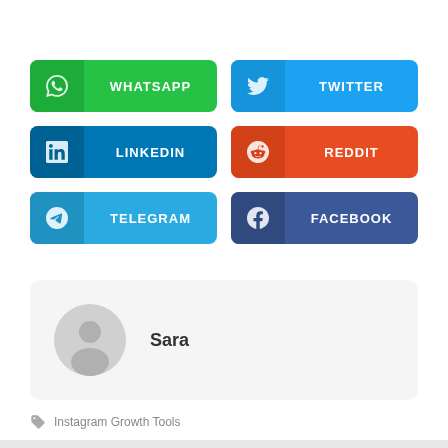[Figure (infographic): Six social media share buttons in a 2x3 grid: WhatsApp (green), Twitter (blue), LinkedIn (dark blue), Reddit (orange-red), Telegram (light blue), Facebook (dark navy blue)]
[Figure (illustration): Author profile card with a generic avatar silhouette and the name 'Sara']
Instagram Growth Tools